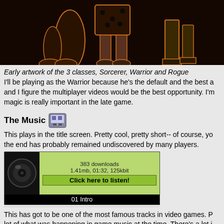[Figure (illustration): Early dark artwork showing legs/feet of 3 game character classes on black background]
Early artwork of the 3 classes, Sorcerer, Warrior and Rogue
I'll be playing as the Warrior because he's the default and the best a and I figure the multiplayer videos would be the best opportunity. I'm magic is really important in the late game.
The Music
This plays in the title screen. Pretty cool, pretty short-- of course, yo the end has probably remained undiscovered by many players.
[Figure (screenshot): Music player widget showing 383 downloads, 1.41mb, 01:32, 125kbit, Click here to listen!, 01 Intro]
This has got to be one of the most famous tracks in video games. P lot of what was happening in game music at the time. There's a lot i
[Figure (screenshot): Music player widget showing 574 downloads, 4.41mb, 04:48, 125kbit]